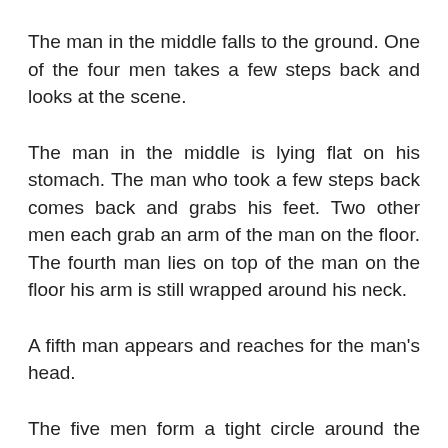The man in the middle falls to the ground. One of the four men takes a few steps back and looks at the scene.
The man in the middle is lying flat on his stomach. The man who took a few steps back comes back and grabs his feet. Two other men each grab an arm of the man on the floor. The fourth man lies on top of the man on the floor his arm is still wrapped around his neck.
A fifth man appears and reaches for the man's head.
The five men form a tight circle around the man on the floor. They move in coordination without revealing the inside of the circle.